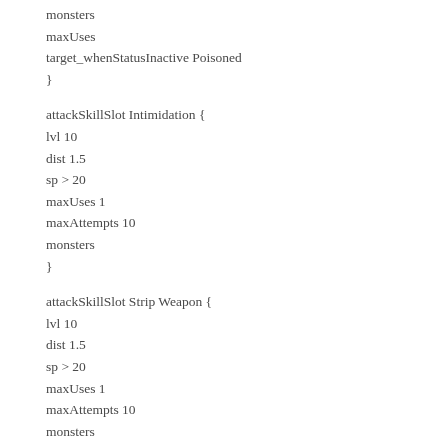monsters
maxUses
target_whenStatusInactive Poisoned
}
attackSkillSlot Intimidation {
lvl 10
dist 1.5
sp > 20
maxUses 1
maxAttempts 10
monsters
}
attackSkillSlot Strip Weapon {
lvl 10
dist 1.5
sp > 20
maxUses 1
maxAttempts 10
monsters
}
attackSkillSlot Strip Armor {
lvl 10
dist 1.5
sp > 20